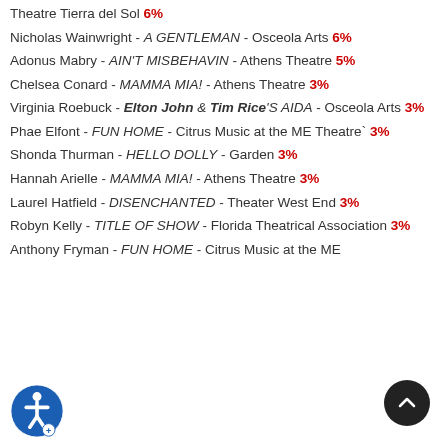Theatre Tierra del Sol 6%
Nicholas Wainwright - A GENTLEMAN - Osceola Arts 6%
Adonus Mabry - AIN'T MISBEHAVIN - Athens Theatre 5%
Chelsea Conard - MAMMA MIA! - Athens Theatre 3%
Virginia Roebuck - Elton John & Tim Rice'S AIDA - Osceola Arts 3%
Phae Elfont - FUN HOME - Citrus Music at the ME Theatre` 3%
Shonda Thurman - HELLO DOLLY - Garden 3%
Hannah Arielle - MAMMA MIA! - Athens Theatre 3%
Laurel Hatfield - DISENCHANTED - Theater West End 3%
Robyn Kelly - TITLE OF SHOW - Florida Theatrical Association 3%
Anthony Fryman - FUN HOME - Citrus Music at the ME